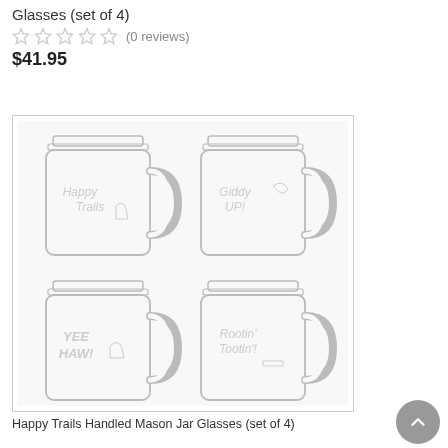Glasses (set of 4)
(0 reviews)
$41.95
[Figure (photo): Four mason jar glasses with handles arranged in a 2x2 grid. Top-left: 'Happy Trails' with boot graphic, Top-right: 'Giddy UP!' with horse graphic, Bottom-left: 'YEE HAW' with boot graphic, Bottom-right: 'Rootin' Tootin'!' with harmonica graphic. All glasses are clear glass with etched western-themed text and illustrations.]
Happy Trails Handled Mason Jar Glasses (set of 4)